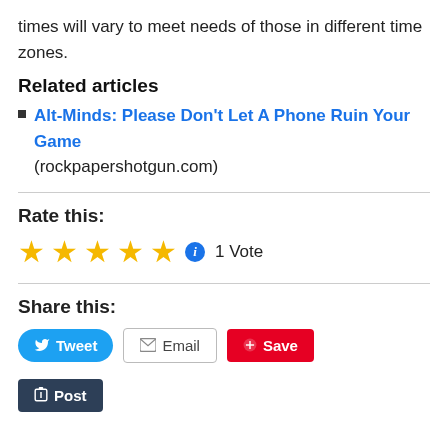times will vary to meet needs of those in different time zones.
Related articles
Alt-Minds: Please Don't Let A Phone Ruin Your Game (rockpapershotgun.com)
Rate this:
[Figure (other): 5 gold stars rating with info icon and '1 Vote' text]
Share this:
[Figure (other): Share buttons: Tweet, Email, Save, Post]